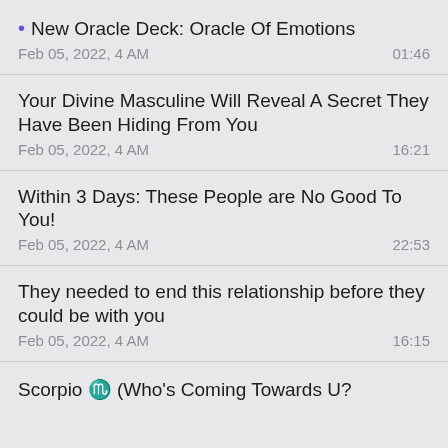New Oracle Deck: Oracle Of Emotions
Feb 05, 2022, 4 AM	01:46
Your Divine Masculine Will Reveal A Secret They Have Been Hiding From You
Feb 05, 2022, 4 AM	16:21
Within 3 Days: These People are No Good To You!
Feb 05, 2022, 4 AM	22:53
They needed to end this relationship before they could be with you
Feb 05, 2022, 4 AM	16:15
Scorpio ♏ (Who's Coming Towards U?